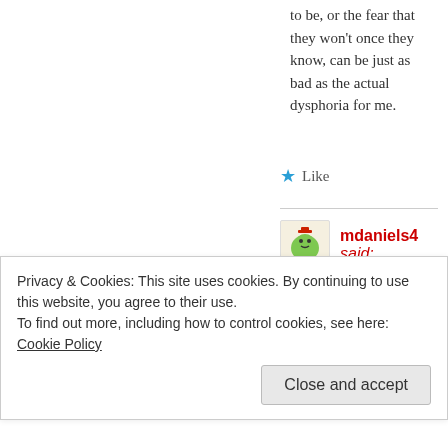to be, or the fear that they won't once they know, can be just as bad as the actual dysphoria for me.
★ Like
mdaniels4 said:
January 7, 2016 at 6:39 pm
Nick. I understand a bit better now what you mean. Sometimes I think this idea of dyspepsia would go away if culture just merely accepted
Privacy & Cookies: This site uses cookies. By continuing to use this website, you agree to their use.
To find out more, including how to control cookies, see here: Cookie Policy
Close and accept